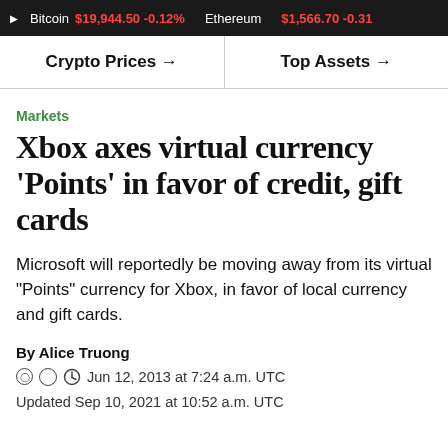▶ Bitcoin $19,944.50 -0.12% Ethereum $1,566.70 -0.31%
Crypto Prices → Top Assets →
Markets
Xbox axes virtual currency 'Points' in favor of credit, gift cards
Microsoft will reportedly be moving away from its virtual "Points" currency for Xbox, in favor of local currency and gift cards.
By Alice Truong
Jun 12, 2013 at 7:24 a.m. UTC
Updated Sep 10, 2021 at 10:52 a.m. UTC